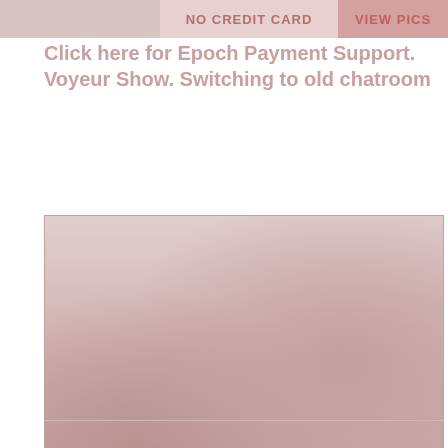[Figure (photo): Banner image with thumbnail on left, NO CREDIT CARD text in center, VIEW PICS button on right — faded pink/red tones]
Click here for Epoch Payment Support. Voyeur Show. Switching to old chatroom
[Figure (photo): Large faded photo of two people in an intimate pose, washed out pink/beige tones]